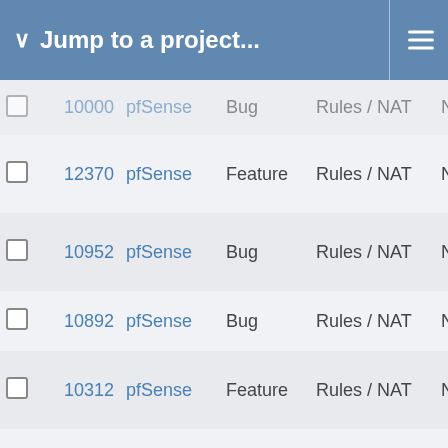Jump to a project...
|  | # | Project | Type | Category | Status |
| --- | --- | --- | --- | --- | --- |
|  | 10000+ | pfSense | Bug | Rules / NAT | New |
|  | 12370 | pfSense | Feature | Rules / NAT | New |
|  | 10952 | pfSense | Bug | Rules / NAT | New |
|  | 10892 | pfSense | Bug | Rules / NAT | New |
|  | 10312 | pfSense | Feature | Rules / NAT | New |
|  | 8820 | pfSense | Bug | Rules / NAT | New |